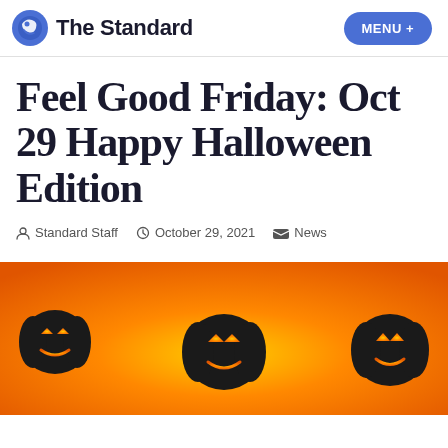The Standard | MENU +
Feel Good Friday: Oct 29 Happy Halloween Edition
Standard Staff  October 29, 2021  News
[Figure (illustration): Orange-background Halloween illustration with black silhouette pumpkins at the bottom]